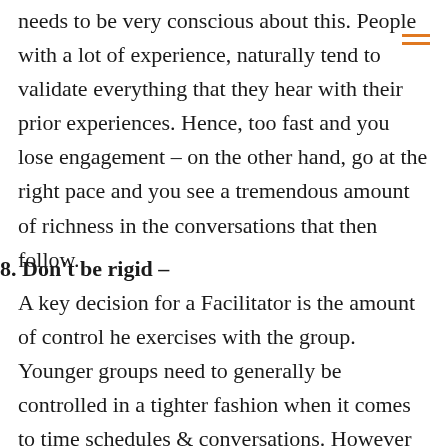needs to be very conscious about this. People with a lot of experience, naturally tend to validate everything that they hear with their prior experiences. Hence, too fast and you lose engagement – on the other hand, go at the right pace and you see a tremendous amount of richness in the conversations that then follow.
8. Don't be rigid –
A key decision for a Facilitator is the amount of control he exercises with the group. Younger groups need to generally be controlled in a tighter fashion when it comes to time schedules & conversations. However with an older group, the same level of control could easily get perceived as policing. Due to the rich conversations, sessions sometimes could easily exceed